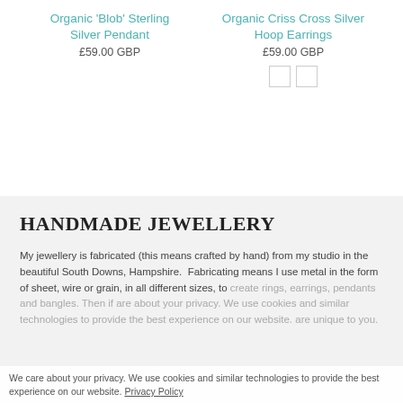Organic 'Blob' Sterling Silver Pendant
£59.00 GBP
Organic Criss Cross Silver Hoop Earrings
£59.00 GBP
HANDMADE JEWELLERY
My jewellery is fabricated (this means crafted by hand) from my studio in the beautiful South Downs, Hampshire.  Fabricating means I use metal in the form of sheet, wire or grain, in all different sizes, to create rings, earrings, pendants and bangles. Then if are about your privacy. We use cookies and similar technologies to provide the best experience on our website. are unique to you.
We care about your privacy. We use cookies and similar technologies to provide the best experience on our website. Privacy Policy